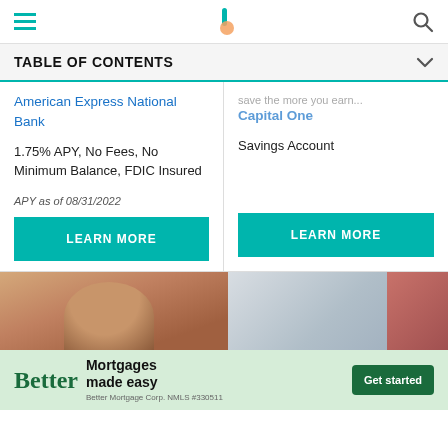Navigation bar with hamburger menu, logo, and search icon
TABLE OF CONTENTS
American Express National Bank
Capital One
1.75% APY, No Fees, No Minimum Balance, FDIC Insured
Savings Account
APY as of 08/31/2022
LEARN MORE
LEARN MORE
[Figure (photo): Two side-by-side lifestyle photos of people, partially visible at bottom of page]
Better Mortgages made easy — Better Mortgage Corp. NMLS #330511 — Get started